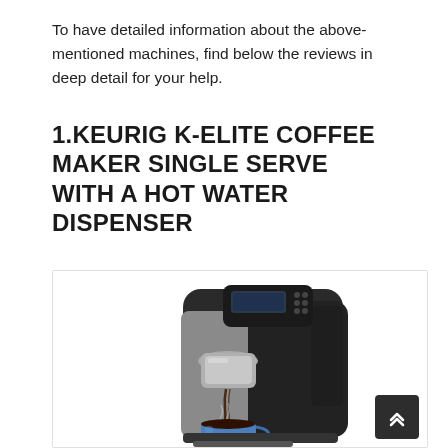To have detailed information about the above-mentioned machines, find below the reviews in deep detail for your help.
1.KEURIG K-ELITE COFFEE MAKER SINGLE SERVE WITH A HOT WATER DISPENSER
[Figure (photo): Photo of a Keurig K-Elite coffee maker in silver/black finish, brewing coffee into a blue mug. The machine is shown from the front with steam rising from the cup.]